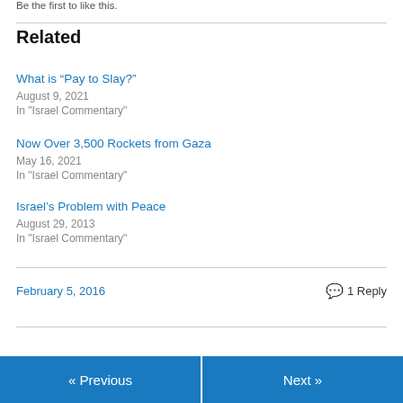Be the first to like this.
Related
What is “Pay to Slay?”
August 9, 2021
In "Israel Commentary"
Now Over 3,500 Rockets from Gaza
May 16, 2021
In "Israel Commentary"
Israel’s Problem with Peace
August 29, 2013
In "Israel Commentary"
February 5, 2016
1 Reply
« Previous
Next »